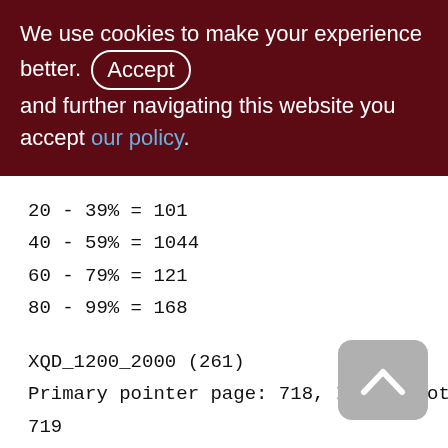We use cookies to make your experience better. By accepting and further navigating this website you accept our policy.
20 - 39% = 101
40 - 59% = 1044
60 - 79% = 121
80 - 99% = 168
XQD_1200_2000 (261)
Primary pointer page: 718, Index root page: 719
Total formats: 1, used formats: 1
Average record length: 13.80, total records: 81975
Average version length: 72.07, total